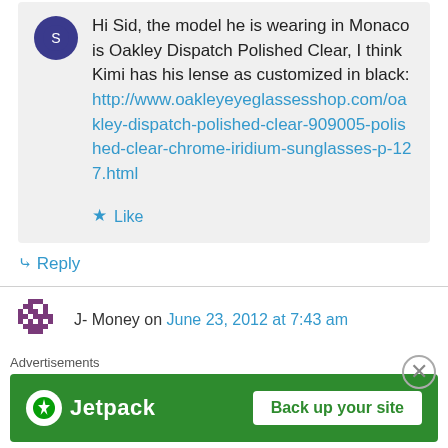Hi Sid, the model he is wearing in Monaco is Oakley Dispatch Polished Clear, I think Kimi has his lense as customized in black: http://www.oakleyeyeglassesshop.com/oakley-dispatch-polished-clear-909005-polished-clear-chrome-iridium-sunglasses-p-127.html
★ Like
↳ Reply
J- Money on June 23, 2012 at 7:43 am
[Figure (other): Jetpack advertisement banner with green background, Jetpack logo and 'Back up your site' button]